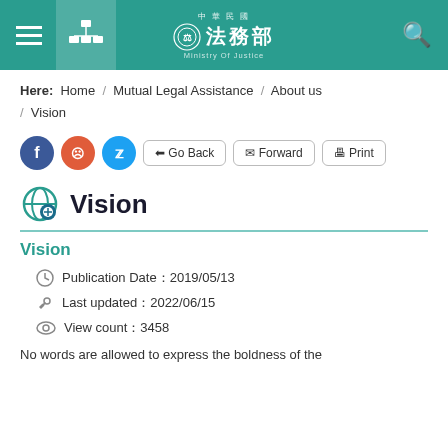中華民國 法務部 Ministry Of Justice
Here: Home / Mutual Legal Assistance / About us / Vision
[Figure (infographic): Social share buttons (Facebook, Plurk, Twitter) and action buttons (Go Back, Forward, Print)]
Vision
Vision
Publication Date：2019/05/13
Last updated：2022/06/15
View count：3458
No words are allowed to express the boldness of the